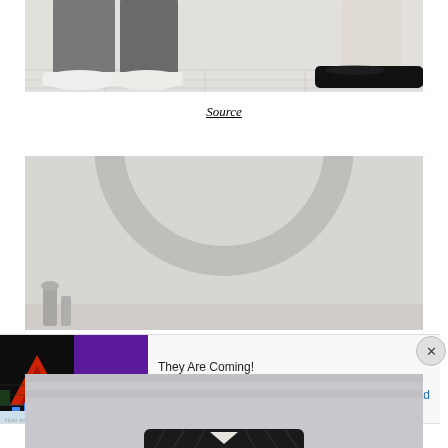[Figure (photo): Close-up photo of two people's lower legs and feet. Left person wears grey wide-leg trousers with white sneakers; right person wears cream/white trousers with black loafers. White wooden floor background.]
Source
[Figure (photo): Minimalist interior photo featuring a large round white arch or circular frame element on a light grey wall, with a small vase visible at the bottom left.]
[Figure (photo): Advertisement banner: Ad label, game image for 'Hold and Move' by Rollic. Text: 'They Are Coming!' with a Download button. Close button (X) on right.]
[Figure (photo): Partial photo showing the head and shoulders of a Black man wearing a dark textured jacket, photographed from slightly above in a light-toned studio setting.]